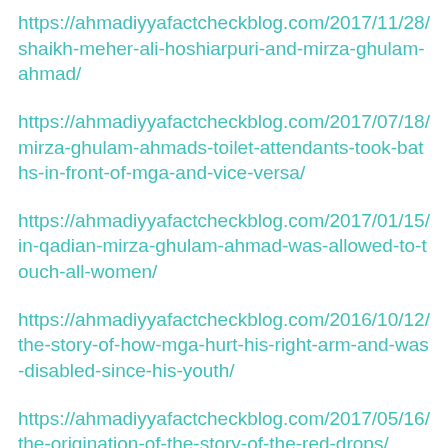https://ahmadiyyafactcheckblog.com/2017/11/28/shaikh-meher-ali-hoshiarpuri-and-mirza-ghulam-ahmad/
https://ahmadiyyafactcheckblog.com/2017/07/18/mirza-ghulam-ahmads-toilet-attendants-took-baths-in-front-of-mga-and-vice-versa/
https://ahmadiyyafactcheckblog.com/2017/01/15/in-qadian-mirza-ghulam-ahmad-was-allowed-to-touch-all-women/
https://ahmadiyyafactcheckblog.com/2016/10/12/the-story-of-how-mga-hurt-his-right-arm-and-was-disabled-since-his-youth/
https://ahmadiyyafactcheckblog.com/2017/05/16/the-origination-of-the-story-of-the-red-drops/
https://ahmadiyyafactcheckblog.com/2...